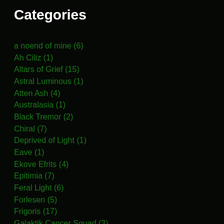Categories
a noend of mine (6)
Ah Ciliz (1)
Altars of Grief (15)
Astral Luminous (1)
Atten Ash (4)
Australasia (1)
Black Tremor (2)
Chiral (7)
Deprived of Light (1)
Eave (1)
Ekove Efrits (4)
Epitimia (7)
Feral Light (6)
Forlesen (5)
Frigoris (17)
Galaktik Cancer Squad (3)
Harrow (3)
Hypnotic Dirge Records (40)
Il Vuoto (6)
Immensity (5)
In my Shiver (3)